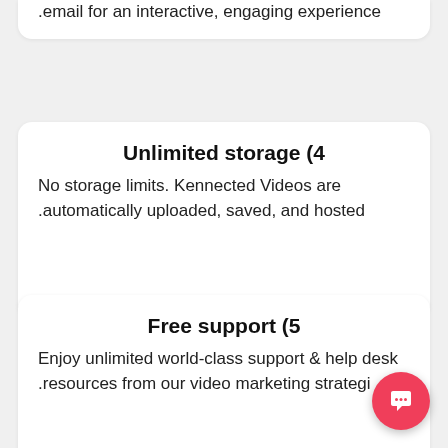.email for an interactive, engaging experience
Unlimited storage (4
No storage limits. Kennected Videos are .automatically uploaded, saved, and hosted
Free support (5
Enjoy unlimited world-class support & help desk .resources from our video marketing strategi